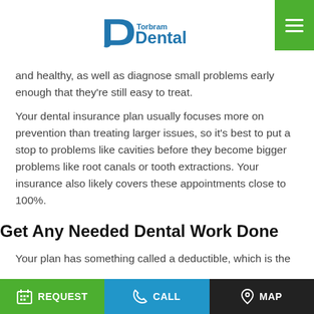Torbram Dental
and healthy, as well as diagnose small problems early enough that they're still easy to treat.
Your dental insurance plan usually focuses more on prevention than treating larger issues, so it's best to put a stop to problems like cavities before they become bigger problems like root canals or tooth extractions. Your insurance also likely covers these appointments close to 100%.
Get Any Needed Dental Work Done
Your plan has something called a deductible, which is the
REQUEST   CALL   MAP